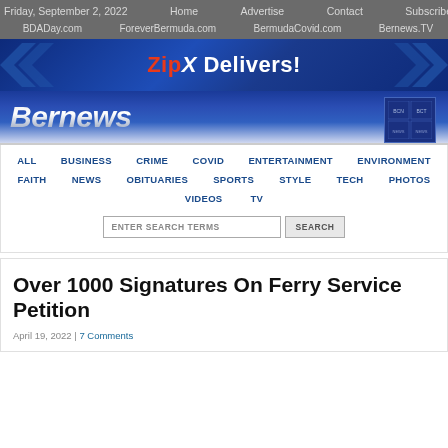Friday, September 2, 2022 | Home | Advertise | Contact | Subscribe | BDADay.com | ForeverBermuda.com | BermudaCovid.com | Bernews.TV
[Figure (illustration): ZipX Delivers! banner advertisement with blue gradient background and chevron arrows]
[Figure (logo): Bernews logo on blue gradient background with silver metallic text]
ALL | BUSINESS | CRIME | COVID | ENTERTAINMENT | ENVIRONMENT | FAITH | NEWS | OBITUARIES | SPORTS | STYLE | TECH | PHOTOS | VIDEOS | TV
ENTER SEARCH TERMS
Over 1000 Signatures On Ferry Service Petition
April 19, 2022 | 7 Comments